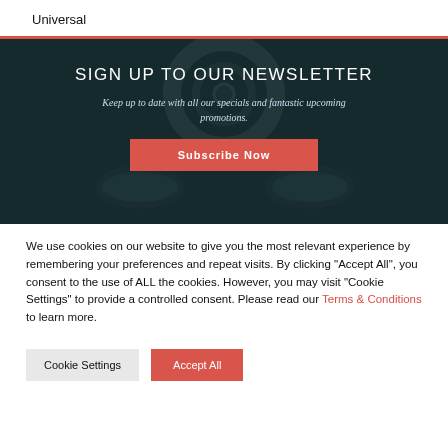Universal
[Figure (photo): Dark overhead gym photo showing a weight plate and sneakers, used as newsletter banner background]
SIGN UP TO OUR NEWSLETTER
Keep up to date with all our specials and fantastic upcoming promotions.
Subscribe Now
We use cookies on our website to give you the most relevant experience by remembering your preferences and repeat visits. By clicking "Accept All", you consent to the use of ALL the cookies. However, you may visit "Cookie Settings" to provide a controlled consent. Please read our Terms & Conditions to learn more.
Cookie Settings
Accept All